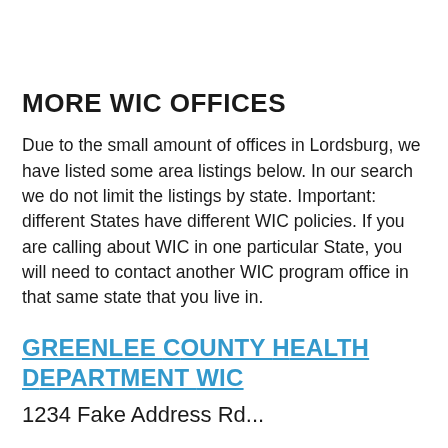More WIC Offices
Due to the small amount of offices in Lordsburg, we have listed some area listings below. In our search we do not limit the listings by state. Important: different States have different WIC policies. If you are calling about WIC in one particular State, you will need to contact another WIC program office in that same state that you live in.
Greenlee County Health Department WIC
1234 Fake Address Rd...